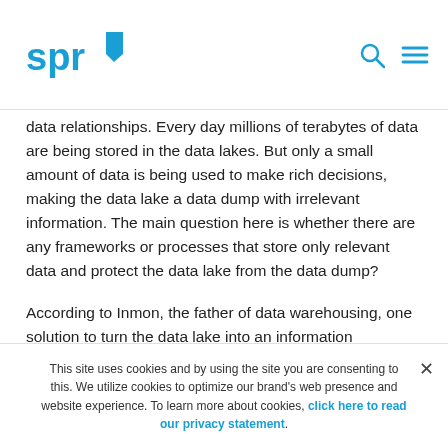SPR logo, search icon, menu icon
data relationships. Every day millions of terabytes of data are being stored in the data lakes. But only a small amount of data is being used to make rich decisions, making the data lake a data dump with irrelevant information. The main question here is whether there are any frameworks or processes that store only relevant data and protect the data lake from the data dump?
According to Inmon, the father of data warehousing, one solution to turn the data lake into an information
This site uses cookies and by using the site you are consenting to this. We utilize cookies to optimize our brand's web presence and website experience. To learn more about cookies, click here to read our privacy statement.